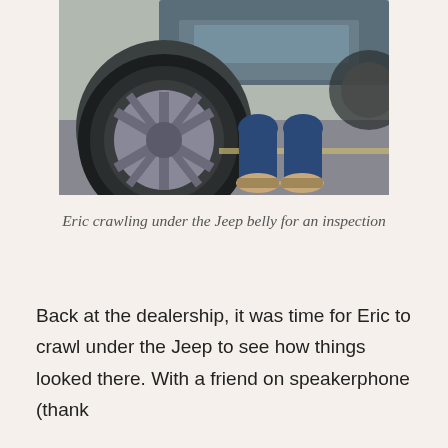[Figure (photo): A person in jeans and sandals crawling under the belly of a blue/grey Jeep, viewed from the side showing the large tire and alloy wheel on pavement.]
Eric crawling under the Jeep belly for an inspection
Back at the dealership, it was time for Eric to crawl under the Jeep to see how things looked there. With a friend on speakerphone (thank